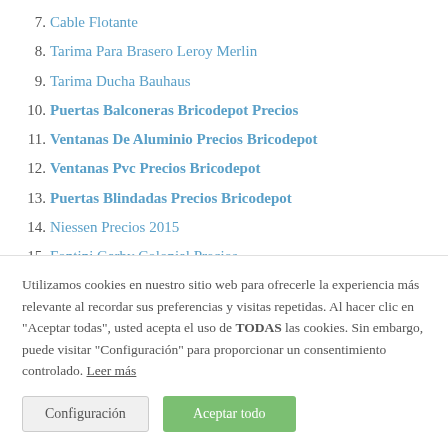7. Cable Flotante
8. Tarima Para Brasero Leroy Merlin
9. Tarima Ducha Bauhaus
10. Puertas Balconeras Bricodepot Precios
11. Ventanas De Aluminio Precios Bricodepot
12. Ventanas Pvc Precios Bricodepot
13. Puertas Blindadas Precios Bricodepot
14. Niessen Precios 2015
15. Fontini Garby Colonial Precios
16. Interruptores Simon Precios
17. Valencia Cable Precios
Utilizamos cookies en nuestro sitio web para ofrecerle la experiencia más relevante al recordar sus preferencias y visitas repetidas. Al hacer clic en "Aceptar todas", usted acepta el uso de TODAS las cookies. Sin embargo, puede visitar "Configuración" para proporcionar un consentimiento controlado. Leer más
Configuración | Aceptar todo